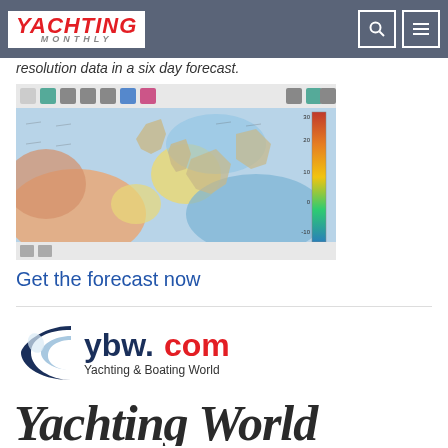YACHTING MONTHLY
resolution data in a six day forecast.
[Figure (screenshot): Weather forecast map showing wind and temperature data over Northern Europe and the North Atlantic, with toolbar icons at top and a color scale on the right side ranging from blue (cold/low) to red (warm/high).]
Get the forecast now
[Figure (logo): ybw.com - Yachting & Boating World logo with a wave/C icon in navy blue and light blue, with 'ybw.com' in dark blue and red, and 'Yachting & Boating World' underneath.]
[Figure (logo): Yachting World logo in large bold italic dark grey text.]